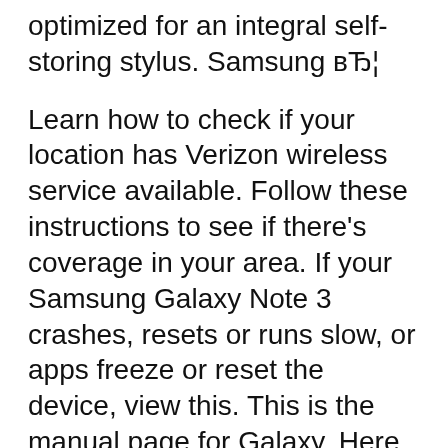optimized for an integral self-storing stylus. Samsung вЂ¦
Learn how to check if your location has Verizon wireless service available. Follow these instructions to see if there's coverage in your area. If your Samsung Galaxy Note 3 crashes, resets or runs slow, or apps freeze or reset the device, view this. This is the manual page for Galaxy. Here you will find instruction manuals, service manuals, user guides schematic, brochures etc.
4-7-2013В В· That pretty much means most of the unlocked Galaxy Note 2s you get in the US cannot be serviced in the US. Oh, and the 2 US service